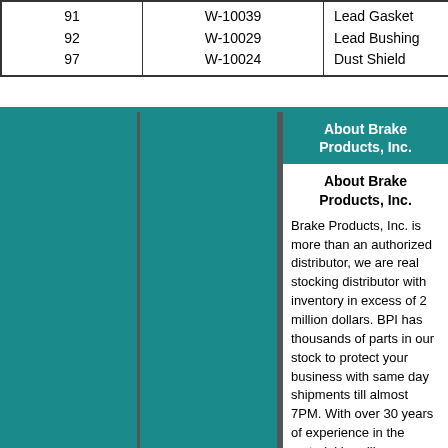|  |  |  |
| --- | --- | --- |
| 91 | W-10039 | Lead Gasket |
| 92 | W-10029 | Lead Bushing |
| 97 | W-10024 | Dust Shield |
About Brake Products, Inc.
About Brake Products, Inc.

Brake Products, Inc. is more than an authorized distributor, we are real stocking distributor with inventory in excess of 2 million dollars. BPI has thousands of parts in our stock to protect your business with same day shipments till almost 7PM. With over 30 years of experience in the material handling business we are